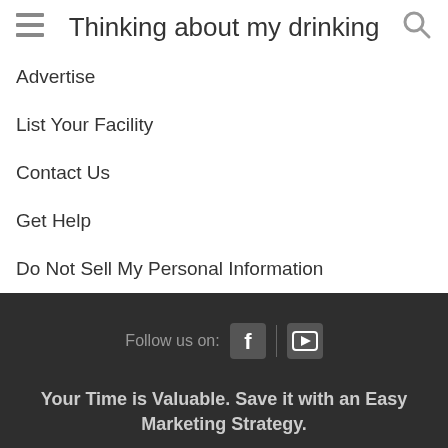Thinking about my drinking
Advertise
List Your Facility
Contact Us
Get Help
Do Not Sell My Personal Information
Follow us on:
Your Time is Valuable. Save it with an Easy Marketing Strategy.
Advertise With Us